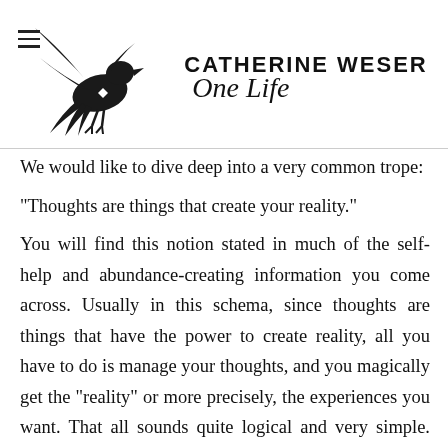CATHERINE WESER One Life [logo with bird illustration]
We would like to dive deep into a very common trope:
“Thoughts are things that create your reality.”
You will find this notion stated in much of the self-help and abundance-creating information you come across. Usually in this schema, since thoughts are things that have the power to create reality, all you have to do is manage your thoughts, and you magically get the “reality” or more precisely, the experiences you want. That all sounds quite logical and very simple. The problem is, whenever you try to manage or control your thoughts, they seem to run even more fiercely away from you. We suggest that